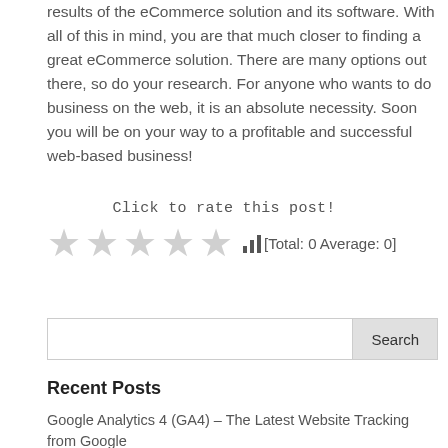results of the eCommerce solution and its software. With all of this in mind, you are that much closer to finding a great eCommerce solution. There are many options out there, so do your research. For anyone who wants to do business on the web, it is an absolute necessity. Soon you will be on your way to a profitable and successful web-based business!
Click to rate this post!
[Total: 0 Average: 0]
Search
Recent Posts
Google Analytics 4 (GA4) – The Latest Website Tracking from Google